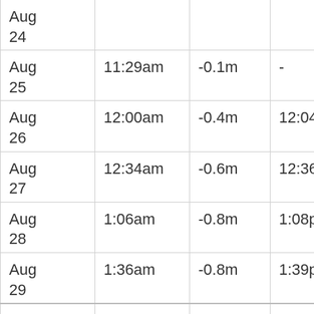| Date | Low Time | Low Height | Low Time 2 | Low Height 2 |
| --- | --- | --- | --- | --- |
| Aug 24 |  |  |  |  |
| Aug 25 | 11:29am | -0.1m | - | - |
| Aug 26 | 12:00am | -0.4m | 12:04pm | -0.3 |
| Aug 27 | 12:34am | -0.6m | 12:36pm | -0.5 |
| Aug 28 | 1:06am | -0.8m | 1:08pm | -0.5 |
| Aug 29 | 1:36am | -0.8m | 1:39pm | -0.5 |
| Aug 30 | 2:05am | -0.8m | 2:10pm | -0.5 |